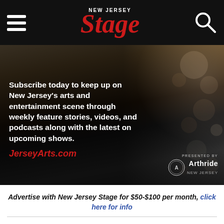NEW JERSEY Stage — navigation header with hamburger menu and search icon
[Figure (photo): Banner advertisement image for JerseyArts.com showing a person in a cream sweater with a blurred audience behind them. Text overlay reads: 'Subscribe today to keep up on New Jersey's arts and entertainment scene through weekly feature stories, videos, and podcasts along with the latest on upcoming shows. JerseyArts.com. Presented by Arthride New Jersey.']
Advertise with New Jersey Stage for $50-$100 per month, click here for info